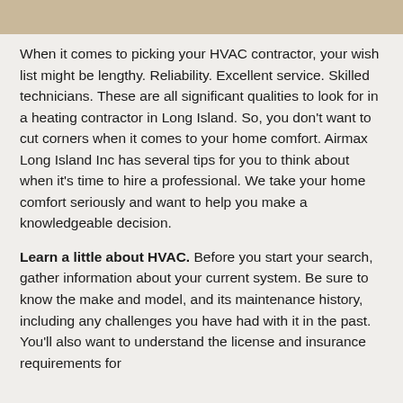[Figure (photo): Partial image visible at top of page, appears to be a tan/beige colored banner image]
When it comes to picking your HVAC contractor, your wish list might be lengthy. Reliability. Excellent service. Skilled technicians. These are all significant qualities to look for in a heating contractor in Long Island. So, you don't want to cut corners when it comes to your home comfort. Airmax Long Island Inc has several tips for you to think about when it's time to hire a professional. We take your home comfort seriously and want to help you make a knowledgeable decision.
Learn a little about HVAC. Before you start your search, gather information about your current system. Be sure to know the make and model, and its maintenance history, including any challenges you have had with it in the past. You'll also want to understand the license and insurance requirements for the local heating and air conditioning services.